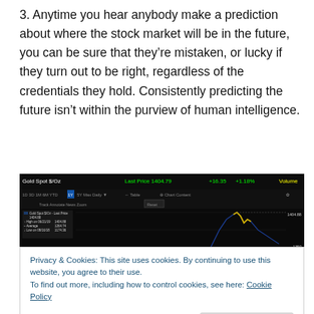3. Anytime you hear anybody make a prediction about where the stock market will be in the future, you can be sure that they're mistaken, or lucky if they turn out to be right, regardless of the credentials they hold. Consistently predicting the future isn't within the purview of human intelligence.
[Figure (screenshot): Bloomberg/financial terminal screenshot showing Gold Spot $/Oz line chart. Last Price 1404.79, +16.35, +1.18%. Chart shows 1Y daily view with price range showing high around 1404.88 on 06/21/19 and low around 1174.36 on 08/16/18. Average 1264.74. Dark background with yellow/blue price line.]
Privacy & Cookies: This site uses cookies. By continuing to use this website, you agree to their use.
To find out more, including how to control cookies, see here: Cookie Policy
[Figure (screenshot): Partial bottom strip of the same Gold Spot financial chart showing x-axis labels: Sep, Oct, Nov, Dec, Jan, Feb, Mar, Apr, May, Jun, Jul, Aug with 2018 and 2019 years visible. Price level ~1150 on right.]